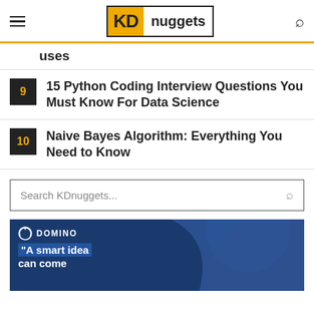KDnuggets
uses
9 - 15 Python Coding Interview Questions You Must Know For Data Science
10 - Naive Bayes Algorithm: Everything You Need to Know
Search KDnuggets...
[Figure (photo): Domino ad banner with a woman smiling and text: A smart idea can come]